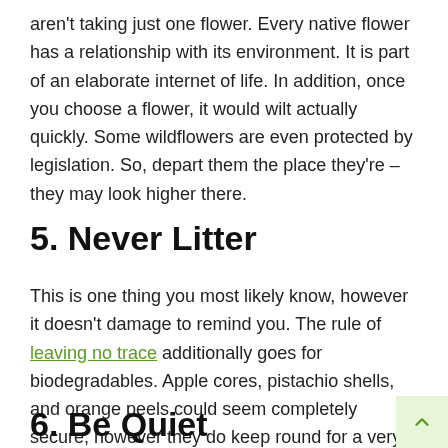aren't taking just one flower. Every native flower has a relationship with its environment. It is part of an elaborate internet of life. In addition, once you choose a flower, it would wilt actually quickly. Some wildflowers are even protected by legislation. So, depart them the place they're – they may look higher there.
5. Never Litter
This is one thing you most likely know, however it doesn't damage to remind you. The rule of leaving no trace additionally goes for biodegradables. Apple cores, pistachio shells, and orange peels could seem completely secure, however they do keep round for a very long time.
6. Be Quiet